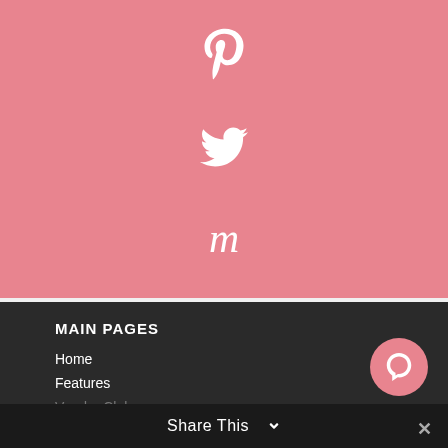[Figure (illustration): Pink background section with three social media icons centered vertically: Pinterest pin icon at top, Twitter bird icon in middle, and stylized cursive 'm' (Meetup or similar) at bottom]
MAIN PAGES
Home
Features
Vendor Club
Find A Venue
[Figure (illustration): Pink circular chat/support button with white speech bubble icon]
Share This ∨
×